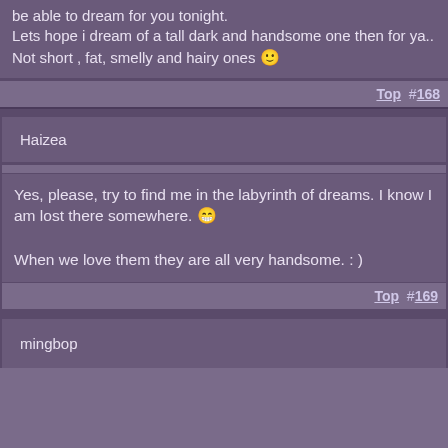be able to dream for you tonight.
Lets hope i dream of a tall dark and handsome one then for ya..
Not short , fat, smelly and hairy ones 🙂
Top  #168
Haizea
Yes, please, try to find me in the labyrinth of dreams. I know I am lost there somewhere. 😁

When we love them they are all very handsome. : )
Top  #169
mingbop